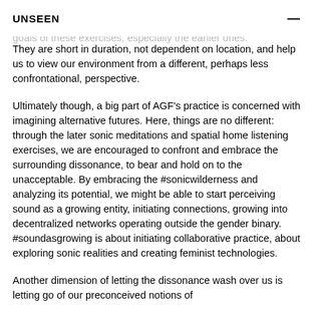UNSEEN  —
being open to things. Feeling safe is a prerequisite for achieving this state of mind, and that's one of the goals of these exercises, especially the earlier ones. They are short in duration, not dependent on location, and help us to view our environment from a different, perhaps less confrontational, perspective.
Ultimately though, a big part of AGF's practice is concerned with imagining alternative futures. Here, things are no different: through the later sonic meditations and spatial home listening exercises, we are encouraged to confront and embrace the surrounding dissonance, to bear and hold on to the unacceptable. By embracing the #sonicwilderness and analyzing its potential, we might be able to start perceiving sound as a growing entity, initiating connections, growing into decentralized networks operating outside the gender binary. #soundasgrowing is about initiating collaborative practice, about exploring sonic realities and creating feminist technologies.
Another dimension of letting the dissonance wash over us is letting go of our preconceived notions of